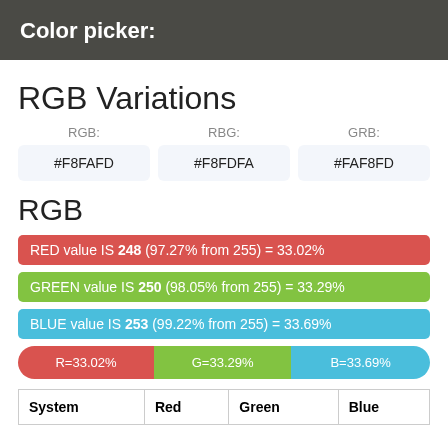Color picker:
RGB Variations
| RGB: | RBG: | GRB: |
| --- | --- | --- |
| #F8FAFD | #F8FDFA | #FAF8FD |
RGB
RED value IS 248 (97.27% from 255) = 33.02%
GREEN value IS 250 (98.05% from 255) = 33.29%
BLUE value IS 253 (99.22% from 255) = 33.69%
[Figure (stacked-bar-chart): RGB combined bar]
| System | Red | Green | Blue |
| --- | --- | --- | --- |